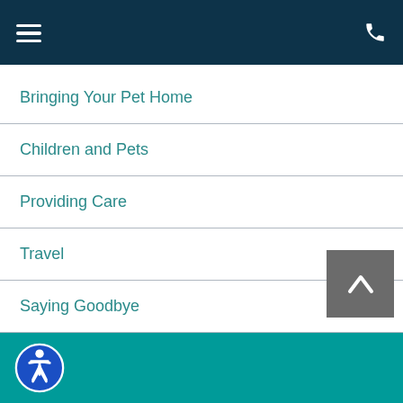Navigation menu header with hamburger icon and phone icon
Bringing Your Pet Home
Children and Pets
Providing Care
Travel
Saying Goodbye
Accessibility icon footer